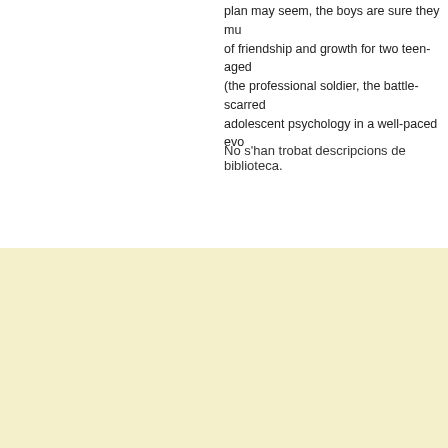plan may seem, the boys are sure they mu of friendship and growth for two teen-aged (the professional soldier, the battle-scarred adolescent psychology in a well-paced evo
Descripcions provinents de biblioteques
No s'han trobat descripcions de biblioteca.
Descripció dels membres de LibraryThing
Aquest lloc utilitza galetes per a oferir els nostres serveis, millorar el
Hi estic d'acord
desenvolupament, per a anàlisis i (si no has iniciat la sessió) per a publicitat. Utilitzant LibraryThing acceptes que has llegit i entès els nostres Termes de servei i politica de privacitat. L'ús que facis del lloc i dels seus serveis està subjecte a aquestes politiques i termes.